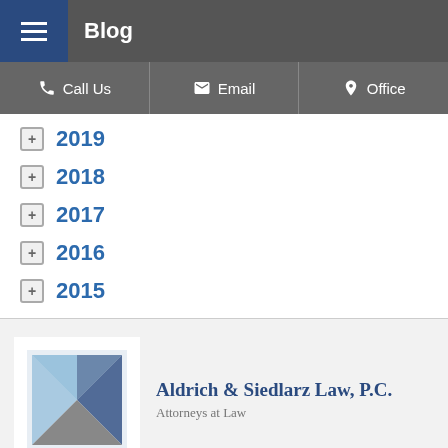Blog
Call Us | Email | Office
2019
2018
2017
2016
2015
Aldrich & Siedlarz Law, P.C.
Attorneys at Law
630-953-3000